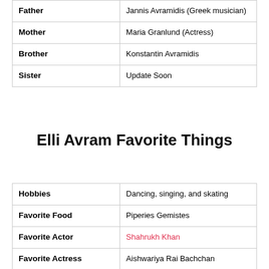| Father | Jannis Avramidis (Greek musician) |
| Mother | Maria Granlund (Actress) |
| Brother | Konstantin Avramidis |
| Sister | Update Soon |
Elli Avram Favorite Things
| Hobbies | Dancing, singing, and skating |
| Favorite Food | Piperies Gemistes |
| Favorite Actor | Shahrukh Khan |
| Favorite Actress | Aishwariya Rai Bachchan |
| Favorite Film | Soon |